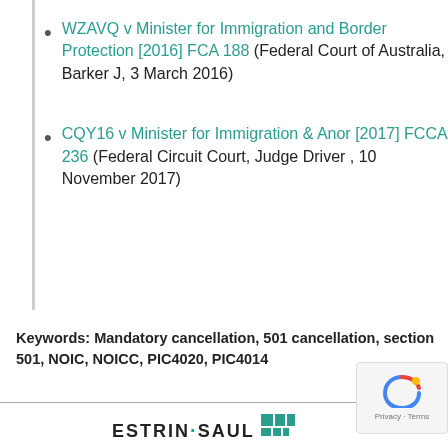WZAVQ v Minister for Immigration and Border Protection [2016] FCA 188 (Federal Court of Australia, Barker J, 3 March 2016)
CQY16 v Minister for Immigration & Anor [2017] FCCA 236 (Federal Circuit Court, Judge Driver , 10 November 2017)
Keywords: Mandatory cancellation, 501 cancellation, section 501, NOIC, NOICC, PIC4020, PIC4014
ESTRIN·SAUL